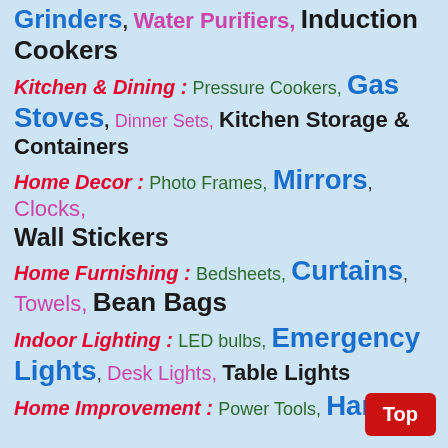Grinders, Water Purifiers, Induction Cookers
Kitchen & Dining : Pressure Cookers, Gas Stoves, Dinner Sets, Kitchen Storage & Containers
Home Decor : Photo Frames, Mirrors, Clocks, Wall Stickers
Home Furnishing : Bedsheets, Curtains, Towels, Bean Bags
Indoor Lighting : LED bulbs, Emergency Lights, Desk Lights, Table Lights
Home Improvement : Power Tools, Hand...